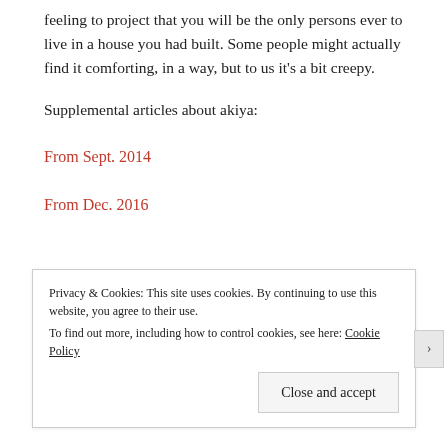feeling to project that you will be the only persons ever to live in a house you had built. Some people might actually find it comforting, in a way, but to us it's a bit creepy.
Supplemental articles about akiya:
From Sept. 2014
From Dec. 2016
Privacy & Cookies: This site uses cookies. By continuing to use this website, you agree to their use. To find out more, including how to control cookies, see here: Cookie Policy
Close and accept